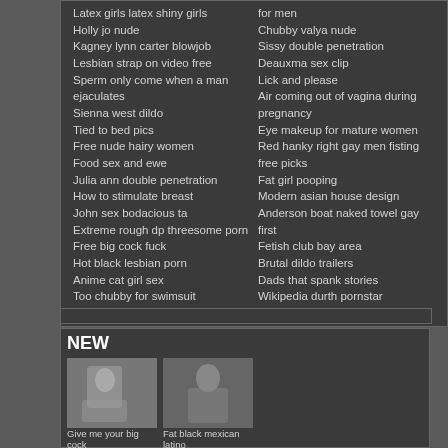Latex girls latex shiny girls
Holly jo nude
Kagney lynn carter blowjob
Lesbian strap on video free
Sperm only come when a man ejaculates
Sienna west dildo
Tied to bed pics
Free nude hairy women
Food sex and ewe
Julia ann double penetration
How to stimulate breast
John sex bodacious ta
Extreme rough dp threesome porn
Free big cock fuck
Hot black lesbian porn
Anime cat girl sex
Too chubby for swimsuit
for men
Chubby valya nude
Sissy double penetration
Deauxma sex clip
Lick and please
Air coming out of vagina during pregnancy
Eye makeup for mature women
Red hanky right gay men fisting free picks
Fat girl pooping
Modern asian house design
Anderson boat naked towel gay first
Fetish club bay area
Brutal dildo trailers
Dads that spank stories
Wikipedia durth pornstar
The boob girls joy johnson
NEW
[Figure (photo): Thumbnail photo 1]
Give me your big cock
[Figure (photo): Thumbnail photo 2]
Fat black mexican latino